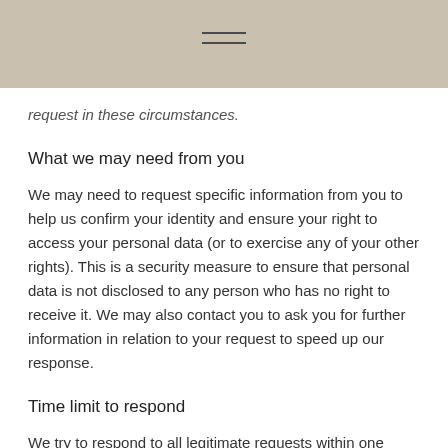[hamburger menu icon]
request in these circumstances.
What we may need from you
We may need to request specific information from you to help us confirm your identity and ensure your right to access your personal data (or to exercise any of your other rights). This is a security measure to ensure that personal data is not disclosed to any person who has no right to receive it. We may also contact you to ask you for further information in relation to your request to speed up our response.
Time limit to respond
We try to respond to all legitimate requests within one month. Occasionally it may take us longer than a month if your request is particularly complex or you have made a number of requests. In this case, we will notify you and keep you updated.